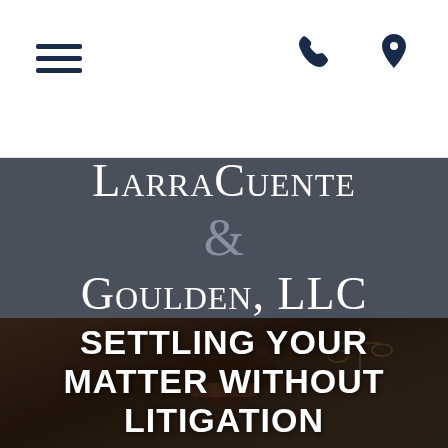Navigation bar with hamburger menu, phone icon, and location pin icon
Larracuente & Goulden, LLC
[Figure (photo): Background photo of a wooden judge's gavel on a surface with a blurred scale of justice in the background, dimly lit courtroom atmosphere]
SETTLING YOUR MATTER WITHOUT LITIGATION